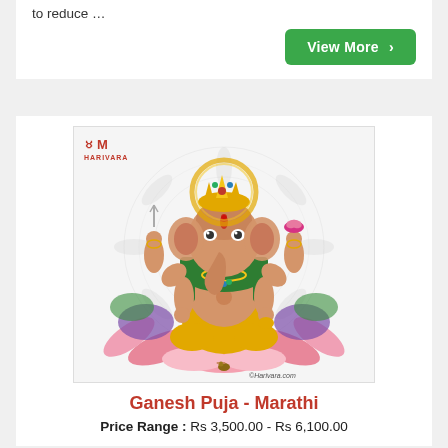to reduce …
View More >
[Figure (illustration): Illustration of Lord Ganesha seated on a lotus flower, holding various objects in four hands, with a mandala-style decorative background. Harivara logo in top-left corner and ©Harivara.com watermark in bottom-right.]
Ganesh Puja - Marathi
Price Range : Rs 3,500.00 - Rs 6,100.00